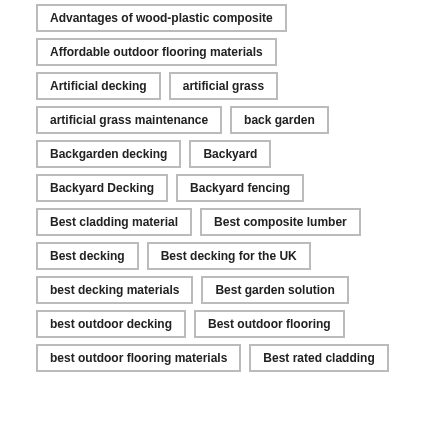Advantages of wood-plastic composite
Affordable outdoor flooring materials
Artificial decking
artificial grass
artificial grass maintenance
back garden
Backgarden decking
Backyard
Backyard Decking
Backyard fencing
Best cladding material
Best composite lumber
Best decking
Best decking for the UK
best decking materials
Best garden solution
best outdoor decking
Best outdoor flooring
best outdoor flooring materials
Best rated cladding